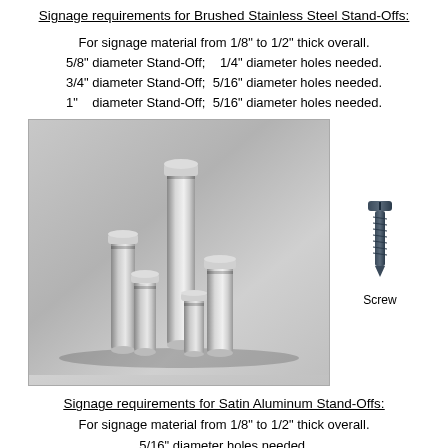Signage requirements for Brushed Stainless Steel Stand-Offs:
For signage material from 1/8" to 1/2" thick overall.
5/8" diameter Stand-Off;    1/4" diameter holes needed.
3/4" diameter Stand-Off;  5/16" diameter holes needed.
1"    diameter Stand-Off;  5/16" diameter holes needed.
[Figure (photo): Photo of multiple brushed stainless steel stand-off spacers of various heights arranged together, plus a separate image of a screw with label 'Screw']
Signage requirements for Satin Aluminum Stand-Offs:
For signage material from 1/8" to 1/2" thick overall.
5/16" diameter holes needed.
[Figure (photo): Bottom edge of a photo showing satin aluminum stand-off material, gray metallic surface]